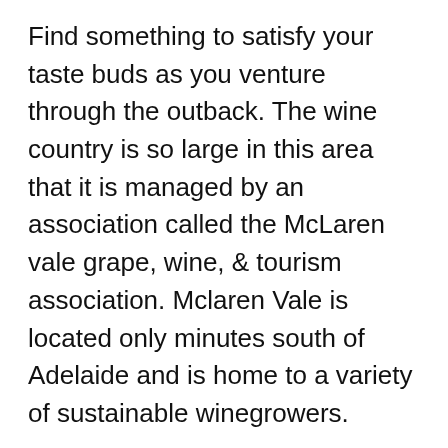Find something to satisfy your taste buds as you venture through the outback. The wine country is so large in this area that it is managed by an association called the McLaren vale grape, wine, & tourism association. Mclaren Vale is located only minutes south of Adelaide and is home to a variety of sustainable winegrowers.
The wines produced in the area include shiraz, fiano, vermentino, barbera, montepulciano, nero d’avola, and tempranillo.
The McLaren...